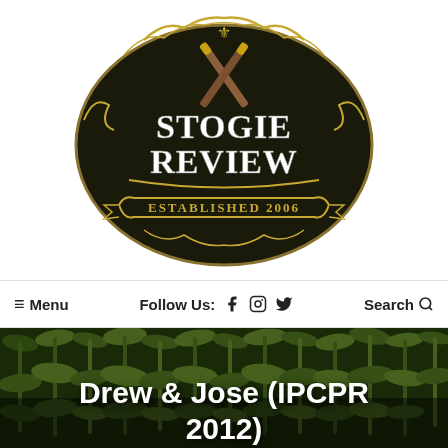Stogie Review — Established 2006 (logo)
≡ Menu   Follow Us: f (Facebook) (Instagram) (Twitter)   Search 🔍
[Figure (photo): Background photo of hanging tobacco leaves (dark green), with bold white text overlay reading 'Drew & Jose (IPCPR 2012)']
Drew & Jose (IPCPR 2012)